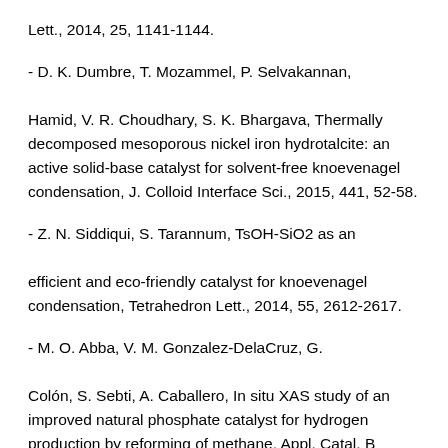Lett., 2014, 25, 1141-1144.
- D. K. Dumbre, T. Mozammel, P. Selvakannan, Hamid, V. R. Choudhary, S. K. Bhargava, Thermally decomposed mesoporous nickel iron hydrotalcite: an active solid-base catalyst for solvent-free knoevenagel condensation, J. Colloid Interface Sci., 2015, 441, 52-58.
- Z. N. Siddiqui, S. Tarannum, TsOH-SiO2 as an efficient and eco-friendly catalyst for knoevenagel condensation, Tetrahedron Lett., 2014, 55, 2612-2617.
- M. O. Abba, V. M. Gonzalez-DelaCruz, G. Colón, S. Sebti, A. Caballero, In situ XAS study of an improved natural phosphate catalyst for hydrogen production by reforming of methane, Appl. Catal. B Environ., 2014, 150-151,